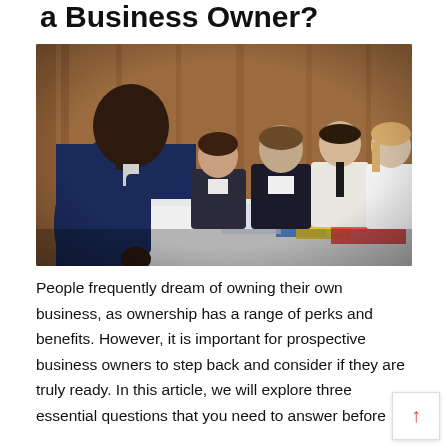a Business Owner?
[Figure (photo): Business meeting scene: a man in a dark suit stands with his back to the camera, facing a group of colleagues seated at a conference table. The table has colorful papers/documents. A woman in dark clothing and other men in white shirts are visible, with wood-paneled walls in the background.]
People frequently dream of owning their own business, as ownership has a range of perks and benefits. However, it is important for prospective business owners to step back and consider if they are truly ready. In this article, we will explore three essential questions that you need to answer before